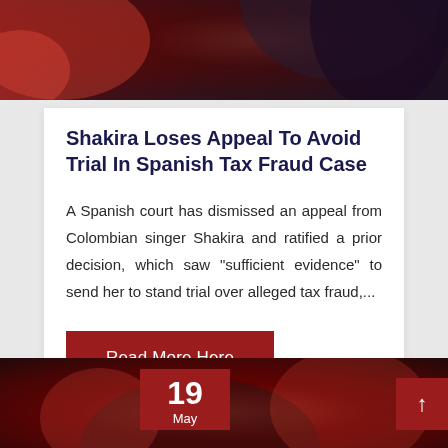[Figure (photo): Close-up photo of a woman with long dark hair, wearing dark clothing, against a blurred red background — upper portion of the page.]
Shakira Loses Appeal To Avoid Trial In Spanish Tax Fraud Case
A Spanish court has dismissed an appeal from Colombian singer Shakira and ratified a prior decision, which saw "sufficient evidence" to send her to stand trial over alleged tax fraud,...
Read More Here
[Figure (photo): Blurred photo with dark red/bokeh background, another person visible — bottom portion of the page. A date badge shows '19 May' in dark red.]